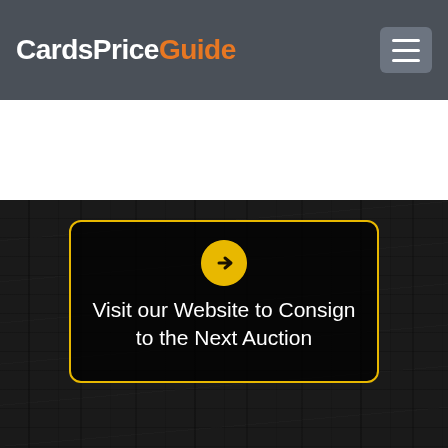CardsPriceGuide
[Figure (screenshot): Dark wood-texture background with a centered card containing a yellow arrow-in-circle icon and text 'Visit our Website to Consign to the Next Auction' with a yellow border, on a dark website (CardsPriceGuide).]
Visit our Website to Consign to the Next Auction